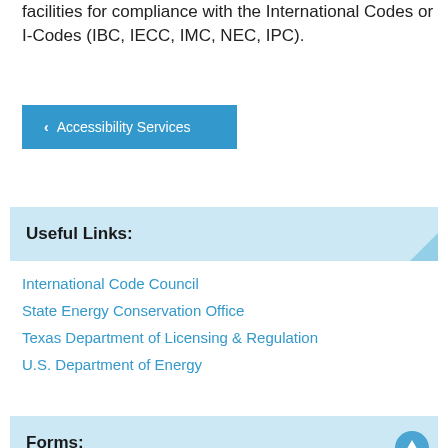facilities for compliance with the International Codes or I-Codes (IBC, IECC, IMC, NEC, IPC).
< Accessibility Services
Useful Links:
International Code Council
State Energy Conservation Office
Texas Department of Licensing & Regulation
U.S. Department of Energy
Forms: